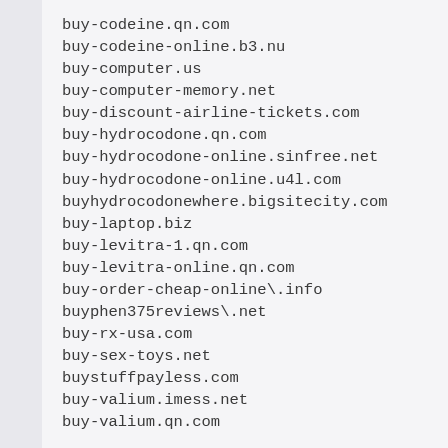buy-codeine.qn.com
buy-codeine-online.b3.nu
buy-computer.us
buy-computer-memory.net
buy-discount-airline-tickets.com
buy-hydrocodone.qn.com
buy-hydrocodone-online.sinfree.net
buy-hydrocodone-online.u4l.com
buyhydrocodonewhere.bigsitecity.com
buy-laptop.biz
buy-levitra-1.qn.com
buy-levitra-online.qn.com
buy-order-cheap-online\.info
buyphen375reviews\.net
buy-rx-usa.com
buy-sex-toys.net
buystuffpayless.com
buy-valium.imess.net
buy-valium.qn.com